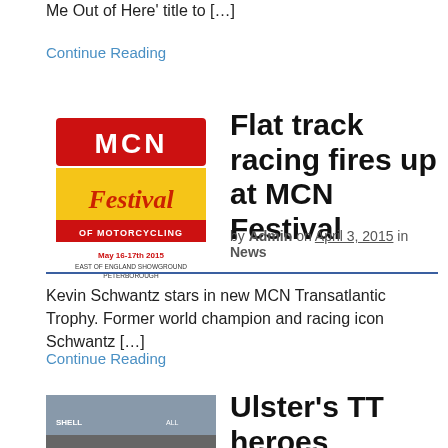Me Out of Here' title to […]
Continue Reading
[Figure (logo): MCN Festival of Motorcycling logo, May 16-17th 2015, East of England Showground Peterborough]
Flat track racing fires up at MCN Festival
by Admin on April 3, 2015 in News
Kevin Schwantz stars in new MCN Transatlantic Trophy. Former world champion and racing icon Schwantz […]
Continue Reading
[Figure (photo): Motorcycle racing action photo, Ulster TT heroes article]
Ulster's TT heroes celebrated in new exhibition. The d…